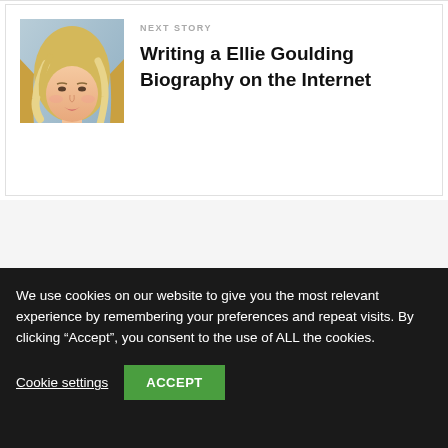[Figure (photo): Portrait photo of Ellie Goulding, a blonde woman]
NEXT STORY
Writing a Ellie Goulding Biography on the Internet
We use cookies on our website to give you the most relevant experience by remembering your preferences and repeat visits. By clicking “Accept”, you consent to the use of ALL the cookies.
Cookie settings
ACCEPT